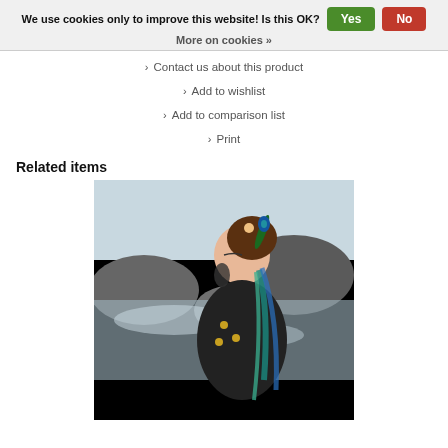We use cookies only to improve this website! Is this OK?  Yes  No
More on cookies »
> Contact us about this product
> Add to wishlist
> Add to comparison list
> Print
Related items
[Figure (photo): A woman in elaborate costume with peacock feather hair decoration and turquoise braids, posed in profile against a rocky ocean backdrop.]